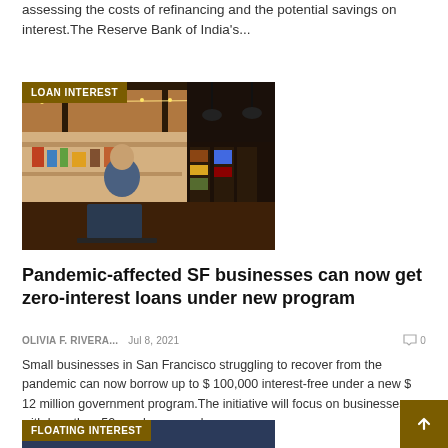assessing the costs of refinancing and the potential savings on interest.The Reserve Bank of India's...
[Figure (photo): Woman working on a laptop in a cafe or restaurant setting, with warm lighting and shelves in the background. Tag badge reads 'LOAN INTEREST'.]
Pandemic-affected SF businesses can now get zero-interest loans under new program
OLIVIA F. RIVERA...   Jul 8, 2021   0
Small businesses in San Francisco struggling to recover from the pandemic can now borrow up to $ 100,000 interest-free under a new $ 12 million government program.The initiative will focus on businesses with less than 50 employees and gross...
[Figure (photo): Dark blue background image with 'FLOATING INTEREST' tag badge overlay.]